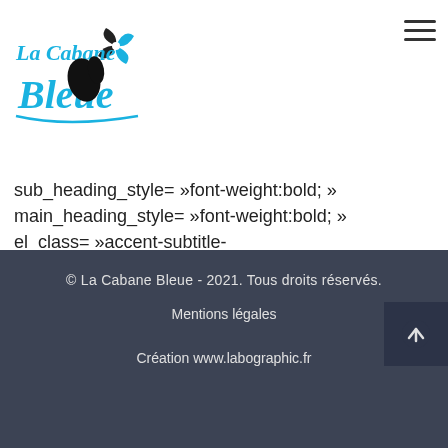[Figure (logo): La Cabane Bleue logo — stylized script text with blue and black colors and a pinwheel/windmill icon]
sub_heading_style= »font-weight:bold; » main_heading_style= »font-weight:bold; » el_class= »accent-subtitle-color »]@WordPress.Premium.Theme[/ultimate_heading][/vc_column_inner][/vc_row_inner][/vc_column][/vc_row]
© La Cabane Bleue - 2021. Tous droits réservés.
Mentions légales
Création www.labographic.fr